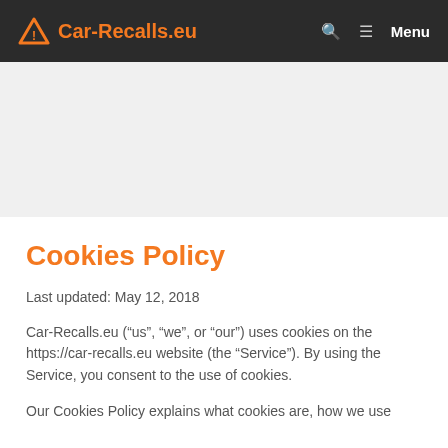Car-Recalls.eu — Menu
Cookies Policy
Last updated: May 12, 2018
Car-Recalls.eu (“us”, “we”, or “our”) uses cookies on the https://car-recalls.eu website (the “Service”). By using the Service, you consent to the use of cookies.
Our Cookies Policy explains what cookies are, how we use